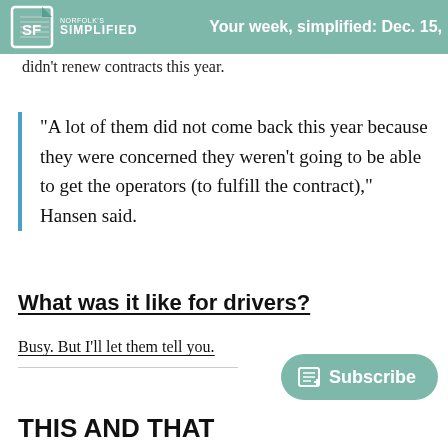SF SIMPLIFIED — Your week, simplified: Dec. 15,
didn't renew contracts this year.
"A lot of them did not come back this year because they were concerned they weren't going to be able to get the operators (to fulfill the contract)," Hansen said.
What was it like for drivers?
Busy. But I'll let them tell you.
THIS AND THAT